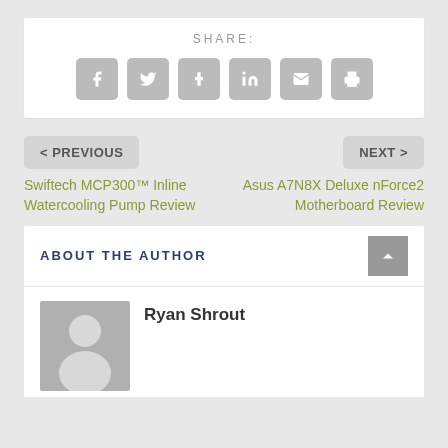SHARE:
[Figure (other): Social share buttons: Facebook, Twitter, Tumblr, LinkedIn, Email, Print]
< PREVIOUS
NEXT >
Swiftech MCP300™ Inline Watercooling Pump Review
Asus A7N8X Deluxe nForce2 Motherboard Review
ABOUT THE AUTHOR
Ryan Shrout
[Figure (illustration): Author avatar placeholder image (grey silhouette of a person)]